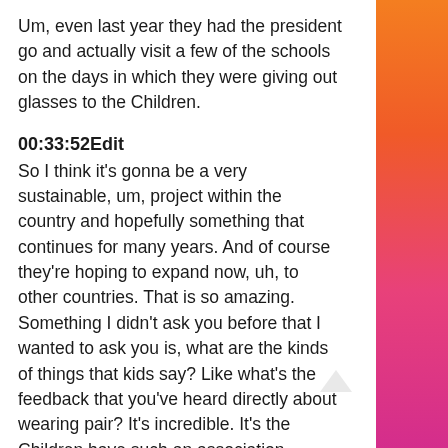Um, even last year they had the president go and actually visit a few of the schools on the days in which they were giving out glasses to the Children.
00:33:52Edit
So I think it's gonna be a very sustainable, um, project within the country and hopefully something that continues for many years. And of course they're hoping to expand now, uh, to other countries. That is so amazing. Something I didn't ask you before that I wanted to ask you is, what are the kinds of things that kids say? Like what's the feedback that you've heard directly about wearing pair? It's incredible. It's the Children have such an association between the different top frames. They